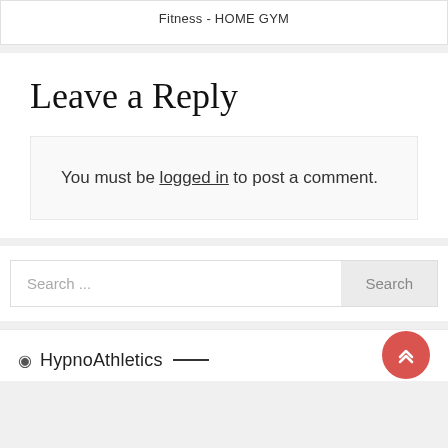Fitness - HOME GYM
Leave a Reply
You must be logged in to post a comment.
Search ...
HypnoAthletics